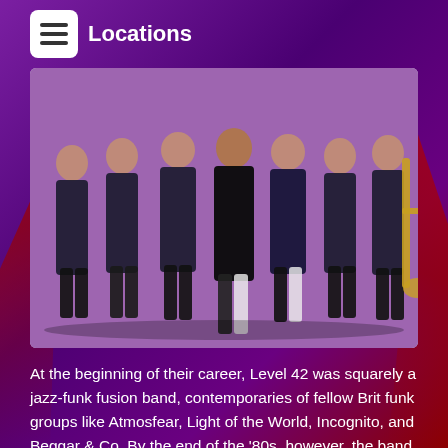Locations
[Figure (photo): Group photo of Level 42 band members, seven men dressed in black, one holding a trombone, posed against a light background with a purple color overlay]
At the beginning of their career, Level 42 was squarely a jazz-funk fusion band, contemporaries of fellow Brit funk groups like Atmosfear, Light of the World, Incognito, and Beggar & Co. By the end of the '80s, however, the band – whose music was instantly